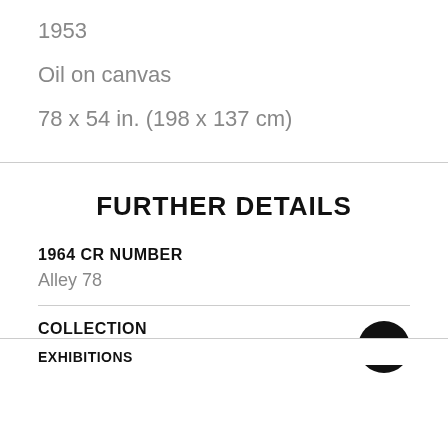1953
Oil on canvas
78 x 54 in. (198 x 137 cm)
FURTHER DETAILS
1964 CR NUMBER
Alley 78
COLLECTION
The V-A-C Collection, Moscow
EXHIBITIONS